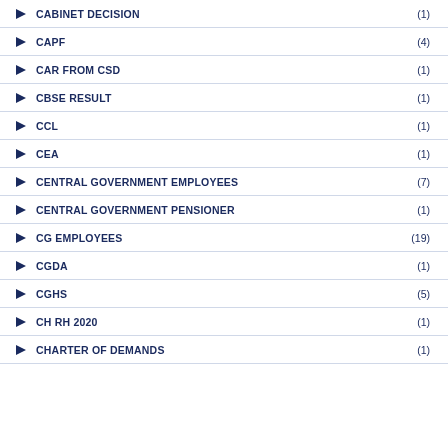CABINET DECISION (1)
CAPF (4)
CAR FROM CSD (1)
CBSE RESULT (1)
CCL (1)
CEA (1)
CENTRAL GOVERNMENT EMPLOYEES (7)
CENTRAL GOVERNMENT PENSIONER (1)
CG EMPLOYEES (19)
CGDA (1)
CGHS (5)
CH RH 2020 (1)
CHARTER OF DEMANDS (1)